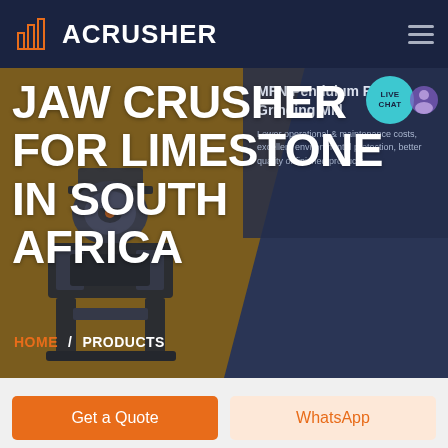ACRUSHER
JAW CRUSHER FOR LIMESTONE IN SOUTH AFRICA
MFN Pendulum Roller Grinding Mill
Lower operational & maintenance costs, excellent environmental protection, better quality of finished products
LIVE CHAT
HOME / PRODUCTS
[Figure (screenshot): Industrial jaw crusher machine rendered in dark metallic tones]
Get a Quote
WhatsApp